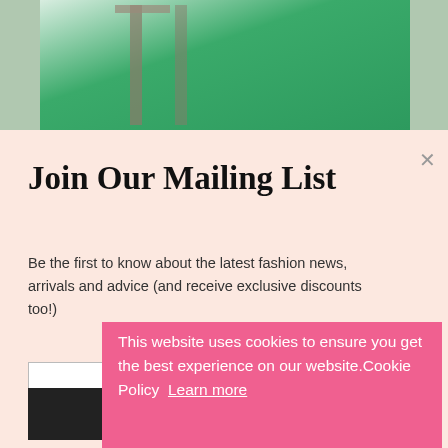[Figure (photo): Fashion/lifestyle website screenshot showing a person in a green top near a table, with a mailing list signup modal and a cookie consent banner overlaid]
Join Our Mailing List
Be the first to know about the latest fashion news, arrivals and advice (and receive exclusive discounts too!)
This website uses cookies to ensure you get the best experience on our website.Cookie Policy  Learn more
Got it